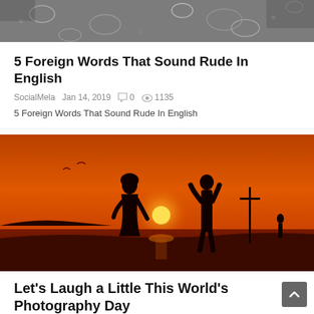[Figure (photo): Partial top image, appears to be rain drops on glass or water surface, dark/grey tones]
5 Foreign Words That Sound Rude In English
SocialMela  Jan 14, 2019  ☐ 0  ◎ 1135
5 Foreign Words That Sound Rude In English
[Figure (photo): Sunset silhouette photo: two people standing on a beach shore at sunset with orange/red sky and sun reflecting on water. Dark silhouettes of people and a pole/statue visible.]
Let’s Laugh a Little This World’s Photography Day